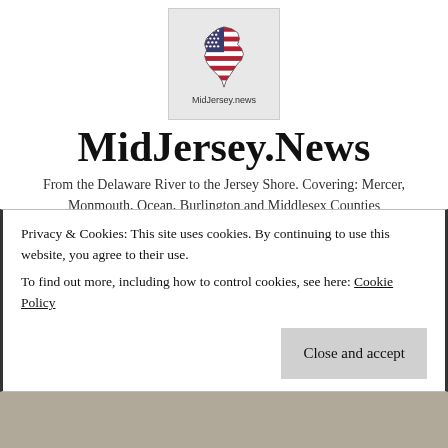[Figure (logo): MidJersey.news logo: New Jersey state outline filled with American flag pattern (stars and stripes), with 'MidJersey.news' text below on grey background]
MidJersey.News
From the Delaware River to the Jersey Shore. Covering: Mercer, Monmouth, Ocean, Burlington and Middlesex Counties
☰ MENU
Privacy & Cookies: This site uses cookies. By continuing to use this website, you agree to their use.
To find out more, including how to control cookies, see here: Cookie Policy
Close and accept